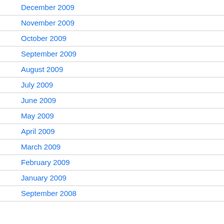December 2009
November 2009
October 2009
September 2009
August 2009
July 2009
June 2009
May 2009
April 2009
March 2009
February 2009
January 2009
September 2008